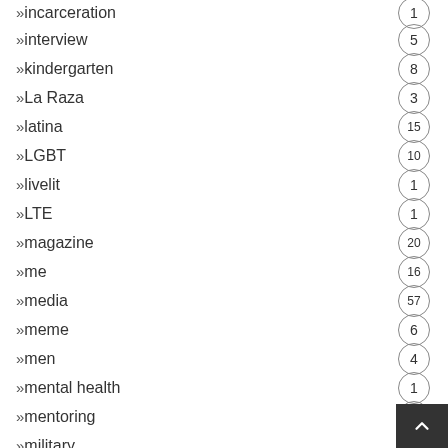»incarceration — 1
»interview — 5
»kindergarten — 8
»La Raza — 3
»latina — 15
»LGBT — 10
»livelit — 1
»LTE — 1
»magazine — 20
»me — 16
»media — 57
»meme — 6
»men — 4
»mental health — 1
»mentoring — 1
»military — 1
»MIRCI — 18